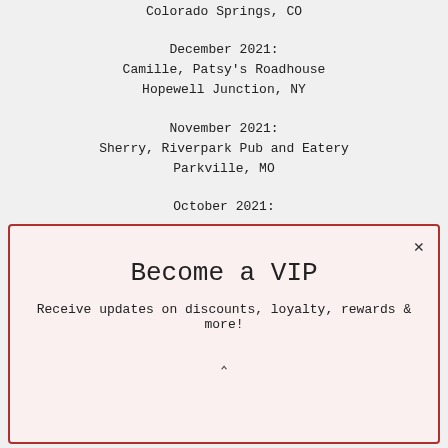Colorado Springs, CO
December 2021:
Camille, Patsy's Roadhouse
Hopewell Junction, NY
November 2021:
Sherry, Riverpark Pub and Eatery
Parkville, MO
October 2021:
Become a VIP
Receive updates on discounts, loyalty, rewards & more!